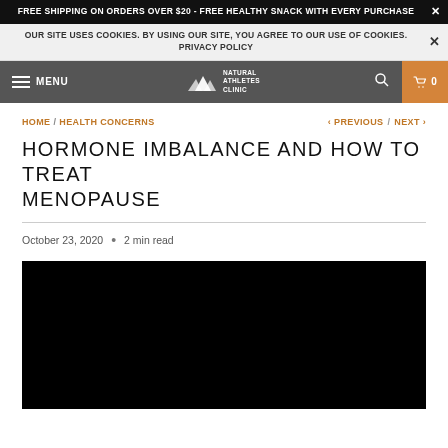FREE SHIPPING ON ORDERS OVER $20 - FREE HEALTHY SNACK WITH EVERY PURCHASE
OUR SITE USES COOKIES. BY USING OUR SITE, YOU AGREE TO OUR USE OF COOKIES. PRIVACY POLICY
[Figure (screenshot): Navigation bar with hamburger menu, MENU text, Natural Athletes Clinic logo (mountain peaks), search icon, and shopping cart with 0 items on orange background]
HOME / HEALTH CONCERNS < PREVIOUS / NEXT >
HORMONE IMBALANCE AND HOW TO TREAT MENOPAUSE
October 23, 2020 • 2 min read
[Figure (photo): Black video player area]